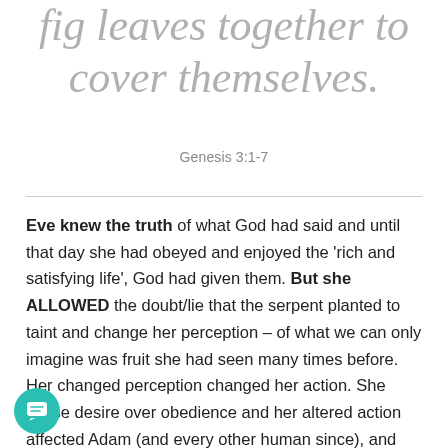fig leaves together to cover themselves.
Genesis 3:1-7
Eve knew the truth of what God had said and until that day she had obeyed and enjoyed the 'rich and satisfying life', God had given them. But she ALLOWED the doubt/lie that the serpent planted to taint and change her perception – of what we can only imagine was fruit she had seen many times before. Her changed perception changed her action. She chose desire over obedience and her altered action affected Adam (and every other human since), and they knew not only